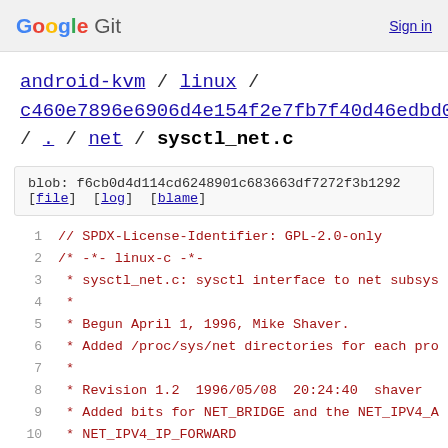Google Git   Sign in
android-kvm / linux / c460e7896e6906d4e154f2e7fb7f40d46edbd006 / . / net / sysctl_net.c
blob: f6cb0d4d114cd6248901c683663df7272f3b1292
[file] [log] [blame]
1  // SPDX-License-Identifier: GPL-2.0-only
2  /* -*- linux-c -*-
3   * sysctl_net.c: sysctl interface to net subsys
4   *
5   * Begun April 1, 1996, Mike Shaver.
6   * Added /proc/sys/net directories for each pro
7   *
8   * Revision 1.2  1996/05/08  20:24:40  shaver
9   * Added bits for NET_BRIDGE and the NET_IPV4_A
10  * NET_IPV4_IP_FORWARD